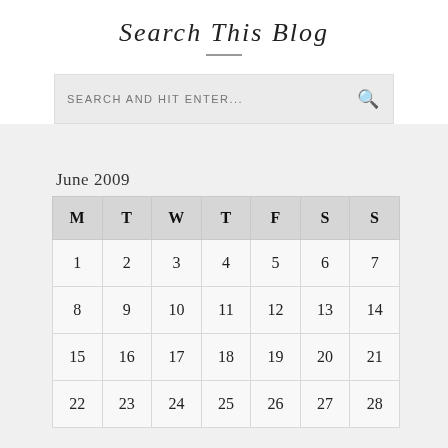Search This Blog
| M | T | W | T | F | S | S |
| --- | --- | --- | --- | --- | --- | --- |
| 1 | 2 | 3 | 4 | 5 | 6 | 7 |
| 8 | 9 | 10 | 11 | 12 | 13 | 14 |
| 15 | 16 | 17 | 18 | 19 | 20 | 21 |
| 22 | 23 | 24 | 25 | 26 | 27 | 28 |